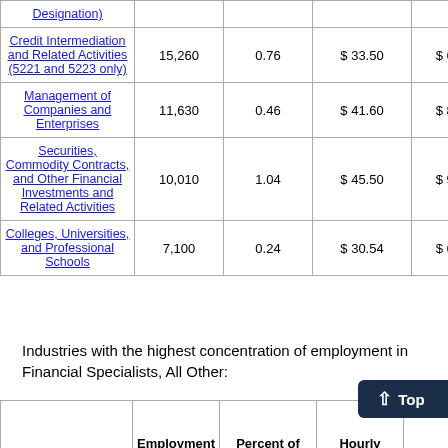| Industry | Employment | Percent of Industry Employment | Hourly Mean Wage | Annual Mean Wage |
| --- | --- | --- | --- | --- |
| Designation) |  |  |  |  |
| Credit Intermediation and Related Activities (5221 and 5223 only) | 15,260 | 0.76 | $ 33.50 | $ 69,670 |
| Management of Companies and Enterprises | 11,630 | 0.46 | $ 41.60 | $ 86,520 |
| Securities, Commodity Contracts, and Other Financial Investments and Related Activities | 10,010 | 1.04 | $ 45.50 | $ 94,640 |
| Colleges, Universities, and Professional Schools | 7,100 | 0.24 | $ 30.54 | $ 63,530 |
Industries with the highest concentration of employment in Financial Specialists, All Other:
| Industry | Employment | Percent of | Hourly | Annual |
| --- | --- | --- | --- | --- |